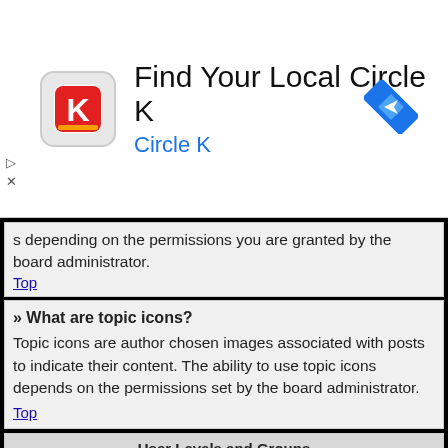[Figure (infographic): Advertisement banner for 'Find Your Local Circle K' app with Circle K logo icon and navigation/directions icon on right]
s depending on the permissions you are granted by the board administrator.
Top
» What are topic icons?
Topic icons are author chosen images associated with posts to indicate their content. The ability to use topic icons depends on the permissions set by the board administrator.
Top
User Levels and Groups
» What are Administrators?
Administrators are members assigned with the highest level of control over the entire board. These members can control all facets of board operation, including setting permissions, banning users, creating usergroups or moderators, etc., dependent upon the board founder and what permissions he or she has given the other administrators. They may also have full moderator capabilities in all